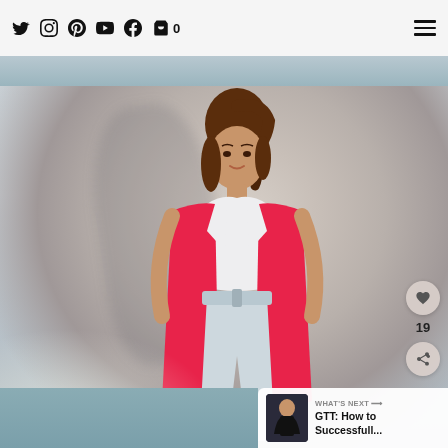Navigation bar with social icons: Twitter, Instagram, Pinterest, YouTube, Facebook, Cart (0), and hamburger menu
[Figure (photo): Fashion photo of a woman with a high ponytail wearing a bright pink/red blazer over a white top and white high-waisted trousers, posed against a light grey wall with shadow behind her]
[Figure (infographic): Floating action buttons: heart/like button and share button, with count of 19]
[Figure (screenshot): What's Next card showing thumbnail of next article 'GTT: How to Successfull...' with a woman in black outfit]